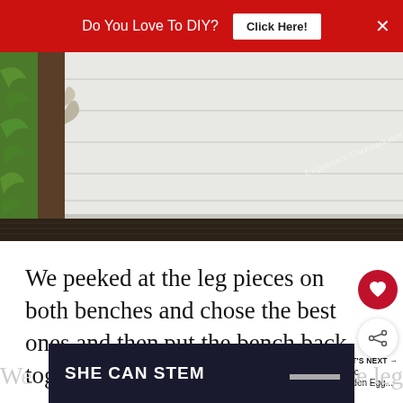Do You Love To DIY?  [Click Here!]  ×
[Figure (photo): Close-up photo of a wooden bench top surface with white painted boards, dark wooden edge/frame, and green plant stems visible on the left side. Watermark text 'Exquisitely Unremarkable' is visible in the lower right of the image.]
We peeked at the leg pieces on both benches and chose the best ones and then put the bench back together.
[Figure (photo): Small thumbnail image of rustic wooden egg holder/carton with red items, used for 'What's Next' navigation link to 'Rustic Wooden Egg...']
WHAT'S NEXT → Rustic Wooden Egg...
[Figure (screenshot): Dark navy advertisement banner with bold white text 'SHE CAN STEM' and a logo on the right side.]